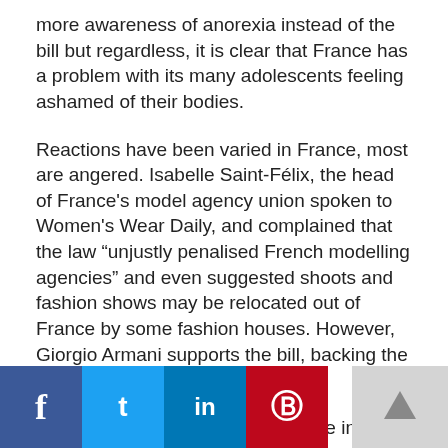more awareness of anorexia instead of the bill but regardless, it is clear that France has a problem with its many adolescents feeling ashamed of their bodies.
Reactions have been varied in France, most are angered. Isabelle Saint-Félix, the head of France's model agency union spoken to Women's Wear Daily, and complained that the law “unjustly penalised French modelling agencies” and even suggested shoots and fashion shows may be relocated out of France by some fashion houses. However, Giorgio Armani supports the bill, backing the need for awareness of anorexia.
Hopefully this “ban” will improve the industry for the better. But of course, it is down to the designers, brands, fa[shion] ma[gazine] editors and casting agencies t[o w]or[k] with a healthy